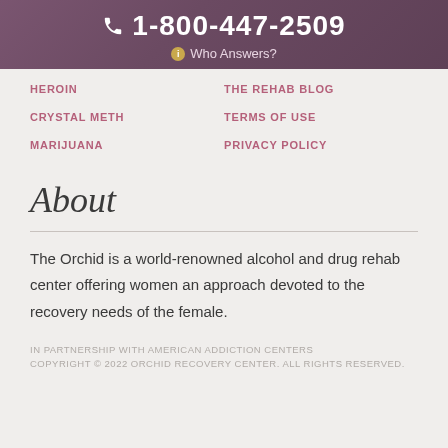1-800-447-2509 Who Answers?
HEROIN
THE REHAB BLOG
CRYSTAL METH
TERMS OF USE
MARIJUANA
PRIVACY POLICY
About
The Orchid is a world-renowned alcohol and drug rehab center offering women an approach devoted to the recovery needs of the female.
IN PARTNERSHIP WITH AMERICAN ADDICTION CENTERS COPYRIGHT © 2022 ORCHID RECOVERY CENTER. ALL RIGHTS RESERVED.